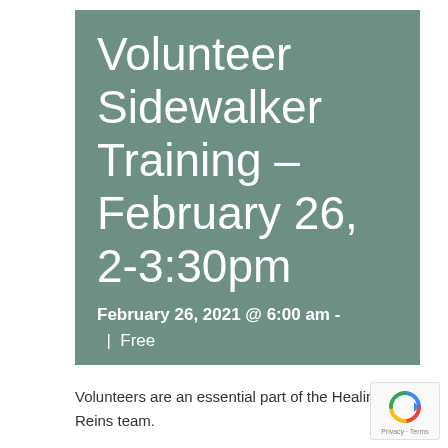Volunteer Sidewalker Training – February 26, 2-3:30pm
February 26, 2021 @ 6:00 am - | Free
Volunteers are an essential part of the Healing Reins team.